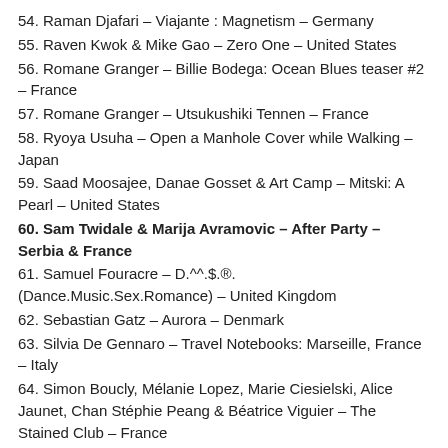54. Raman Djafari – Viajante : Magnetism – Germany
55. Raven Kwok & Mike Gao – Zero One – United States
56. Romane Granger – Billie Bodega: Ocean Blues teaser #2 – France
57. Romane Granger – Utsukushiki Tennen – France
58. Ryoya Usuha – Open a Manhole Cover while Walking – Japan
59. Saad Moosajee, Danae Gosset & Art Camp – Mitski: A Pearl – United States
60. Sam Twidale & Marija Avramovic – After Party – Serbia & France
61. Samuel Fouracre – D.^^.$.®. (Dance.Music.Sex.Romance) – United Kingdom
62. Sebastian Gatz – Aurora – Denmark
63. Silvia De Gennaro – Travel Notebooks: Marseille, France – Italy
64. Simon Boucly, Mélanie Lopez, Marie Ciesielski, Alice Jaunet, Chan Stéphie Peang & Béatrice Viguier – The Stained Club – France